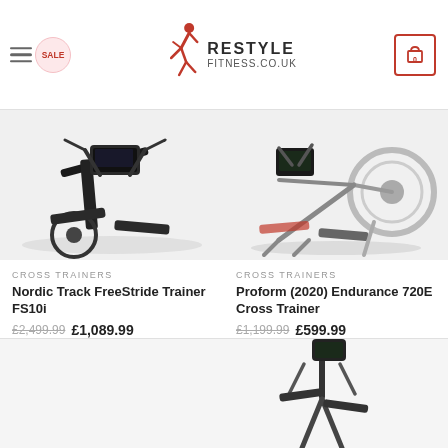[Figure (logo): Restyle Fitness logo with running figure and text 'RESTYLE FITNESS.CO.UK']
CROSS TRAINERS
Nordic Track FreeStride Trainer FS10i
£2,499.99  £1,089.99
SELECT OPTIONS
[Figure (photo): Nordic Track FreeStride Trainer FS10i cross trainer machine, dark grey/black, side-front view]
CROSS TRAINERS
Proform (2020) Endurance 720E Cross Trainer
£1,199.99  £599.99
SELECT OPTIONS
[Figure (photo): Proform (2020) Endurance 720E Cross Trainer, silver/black, side view]
[Figure (photo): Bottom left product card: shows iFIT badge with 'Free 1 Year Family Subscription' and -56% sale badge, partially visible cross trainer]
[Figure (photo): Bottom right product card: partially visible upright cross trainer machine]